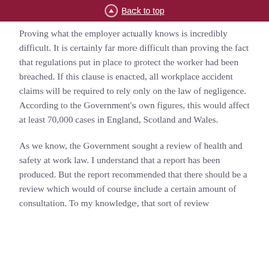Back to top
Proving what the employer actually knows is incredibly difficult. It is certainly far more difficult than proving the fact that regulations put in place to protect the worker had been breached. If this clause is enacted, all workplace accident claims will be required to rely only on the law of negligence. According to the Government's own figures, this would affect at least 70,000 cases in England, Scotland and Wales.
As we know, the Government sought a review of health and safety at work law. I understand that a report has been produced. But the report recommended that there should be a review which would of course include a certain amount of consultation. To my knowledge, that sort of review has not taken place and the definitive ...